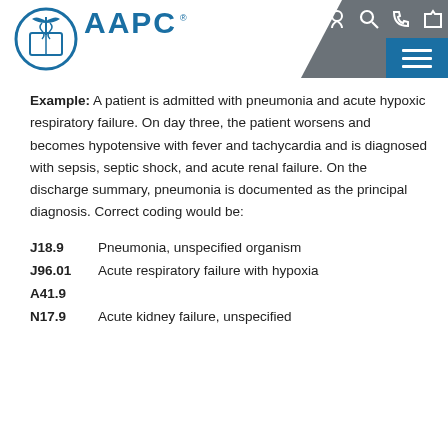[Figure (logo): AAPC logo with caduceus symbol in blue circle and AAPC text]
Example: A patient is admitted with pneumonia and acute hypoxic respiratory failure. On day three, the patient worsens and becomes hypotensive with fever and tachycardia and is diagnosed with sepsis, septic shock, and acute renal failure. On the discharge summary, pneumonia is documented as the principal diagnosis. Correct coding would be:
J18.9    Pneumonia, unspecified organism
J96.01   Acute respiratory failure with hypoxia
A41.9
N17.9   Acute kidney failure, unspecified